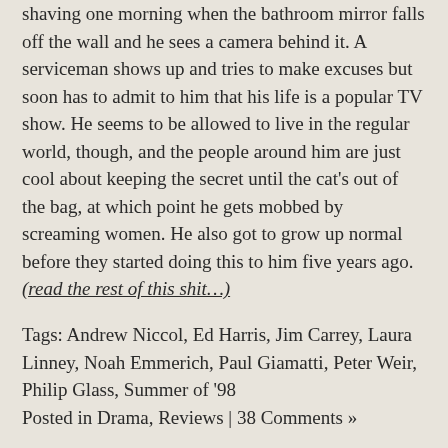shaving one morning when the bathroom mirror falls off the wall and he sees a camera behind it. A serviceman shows up and tries to make excuses but soon has to admit to him that his life is a popular TV show. He seems to be allowed to live in the regular world, though, and the people around him are just cool about keeping the secret until the cat's out of the bag, at which point he gets mobbed by screaming women. He also got to grow up normal before they started doing this to him five years ago. (read the rest of this shit…)
Tags: Andrew Niccol, Ed Harris, Jim Carrey, Laura Linney, Noah Emmerich, Paul Giamatti, Peter Weir, Philip Glass, Summer of '98
Posted in Drama, Reviews | 38 Comments »